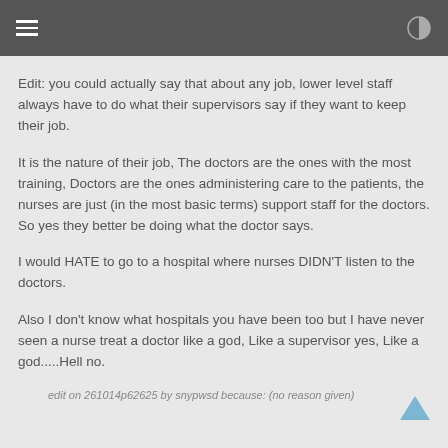Edit: you could actually say that about any job, lower level staff always have to do what their supervisors say if they want to keep their job.
It is the nature of their job, The doctors are the ones with the most training, Doctors are the ones administering care to the patients, the nurses are just (in the most basic terms) support staff for the doctors. So yes they better be doing what the doctor says.
I would HATE to go to a hospital where nurses DIDN'T listen to the doctors.
Also I don't know what hospitals you have been too but I have never seen a nurse treat a doctor like a god, Like a supervisor yes, Like a god.....Hell no.
edit on 261014p62625 by snypwsd because: (no reason given)